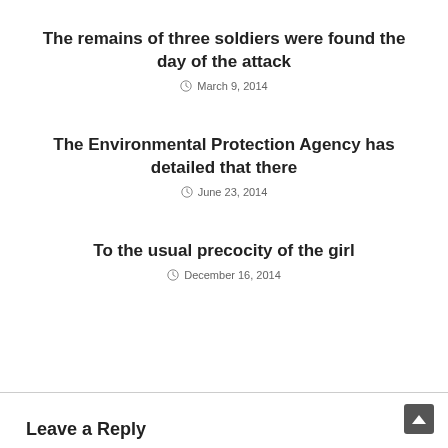The remains of three soldiers were found the day of the attack
March 9, 2014
The Environmental Protection Agency has detailed that there
June 23, 2014
To the usual precocity of the girl
December 16, 2014
Leave a Reply